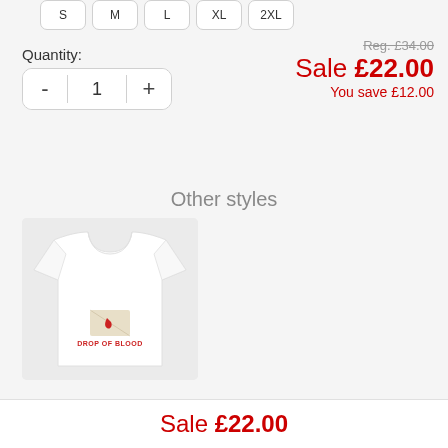S, M, L, XL, 2XL (size buttons)
Quantity:
Reg. £34.00
Sale £22.00
You save £12.00
1 (quantity stepper)
Other styles
[Figure (photo): White long-sleeve maternity top with 'DROP OF BLOOD' graphic print on the front belly area]
Sale £22.00